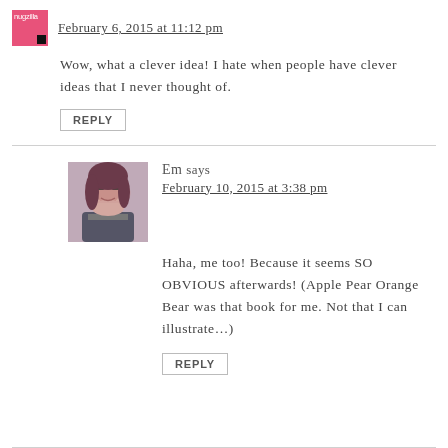February 6, 2015 at 11:12 pm
Wow, what a clever idea! I hate when people have clever ideas that I never thought of.
REPLY
Em says
February 10, 2015 at 3:38 pm
Haha, me too! Because it seems SO OBVIOUS afterwards! (Apple Pear Orange Bear was that book for me. Not that I can illustrate…)
REPLY